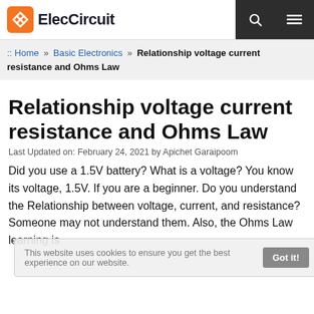ElecCircuit
:: Home » Basic Electronics » Relationship voltage current resistance and Ohms Law
Relationship voltage current resistance and Ohms Law
Last Updated on: February 24, 2021 by Apichet Garaipoom
Did you use a 1.5V battery? What is a voltage? You know its voltage, 1.5V. If you are a beginner. Do you understand the Relationship between voltage, current, and resistance?  Someone may not understand them. Also, the Ohms Law learning is
This website uses cookies to ensure you get the best experience on our website. Got it!